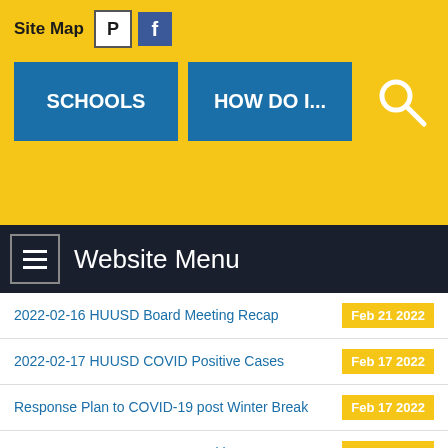Site Map
SCHOOLS | HOW DO I...
Website Menu
2022-02-16 HUUSD Board Meeting Recap — Feb 21 2022
2022-02-17 HUUSD COVID Positive Cases — Feb 17 2022
Response Plan to COVID-19 post Winter Break — Feb 17 2022
2022-02-16 HUUSD COVID Positive Cases — Feb 16 2022